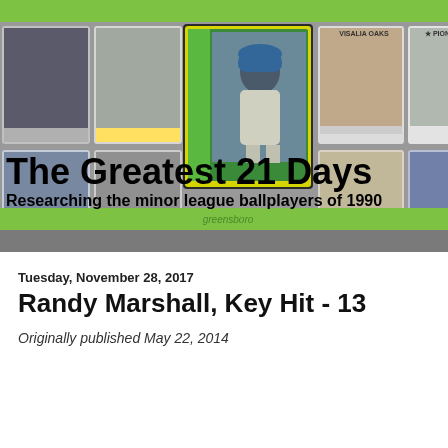[Figure (illustration): Banner image showing a collage of 1990 minor league baseball cards with the blog title 'The Greatest 21 Days' and subtitle 'Researching the minor league ballplayers of 1990' overlaid on top. Green bars at top and bottom of the banner.]
Tuesday, November 28, 2017
Randy Marshall, Key Hit - 13
Originally published May 22, 2014